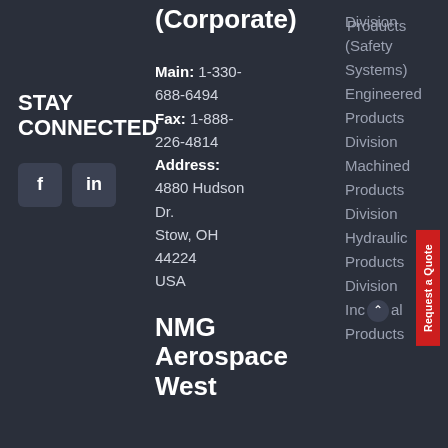(Corporate)
STAY CONNECTED
[Figure (other): Facebook and LinkedIn social media icon buttons]
Main: 1-330-688-6494
Fax: 1-888-226-4814
Address: 4880 Hudson Dr.
Stow, OH 44224
USA
NMG Aerospace West
Products
Division
(Safety
Systems)
Engineered
Products
Division
Machined
Products
Division
Hydraulic
Products
Division
Incidental
Products